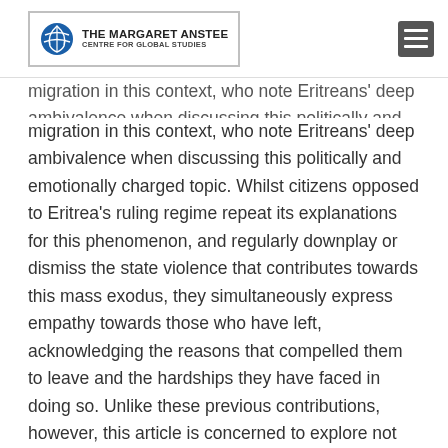THE MARGARET ANSTEE CENTRE FOR GLOBAL STUDIES
migration in this context, who note Eritreans' deep ambivalence when discussing this politically and emotionally charged topic. Whilst citizens opposed to Eritrea's ruling regime repeat its explanations for this phenomenon, and regularly downplay or dismiss the state violence that contributes towards this mass exodus, they simultaneously express empathy towards those who have left, acknowledging the reasons that compelled them to leave and the hardships they have faced in doing so. Unlike these previous contributions, however, this article is concerned to explore not only how government narratives affect personal experience, but also with how these critical citizens end up co-constituting authoritarian power. In detailing citizens' contradictory, concurrent views, it makes a case for understanding ambivalence in authoritarian spaces as a systemic feature of political and social life, which assists in perpetuating authoritarian rule in a